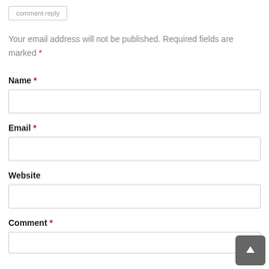comment reply
Your email address will not be published. Required fields are marked *
Name *
Email *
Website
Comment *